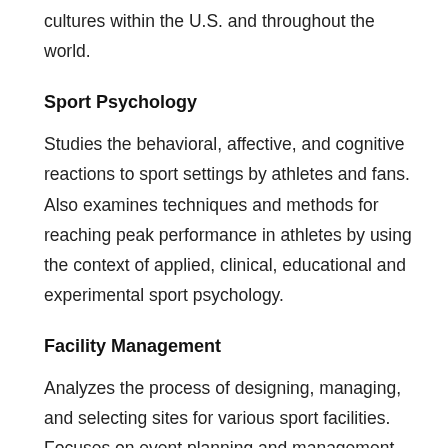cultures within the U.S. and throughout the world.
Sport Psychology
Studies the behavioral, affective, and cognitive reactions to sport settings by athletes and fans. Also examines techniques and methods for reaching peak performance in athletes by using the context of applied, clinical, educational and experimental sport psychology.
Facility Management
Analyzes the process of designing, managing, and selecting sites for various sport facilities. Focuses on event planning and management for sport and special events and explores the beneficial economic impacts of sport facilities and events on cities and